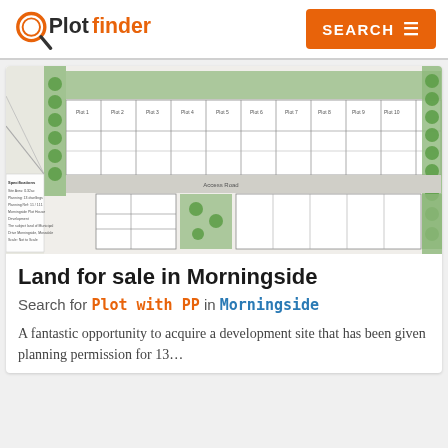Plotfinder | SEARCH
[Figure (schematic): Architectural site plan / layout drawing for a housing development in Morningside, showing plot boundaries, buildings, green landscaping areas with trees, parking, roads, and plan legend/notes in lower left corner.]
Land for sale in Morningside
Search for Plot with PP in Morningside
A fantastic opportunity to acquire a development site that has been given planning permission for 13...